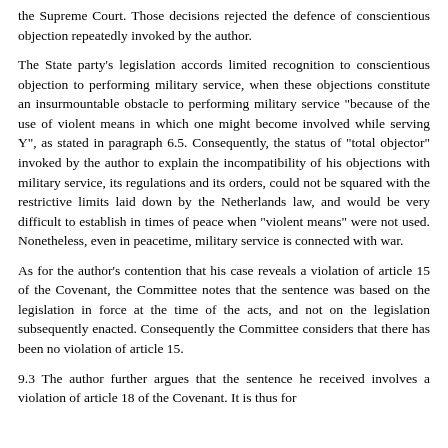the Supreme Court. Those decisions rejected the defence of conscientious objection repeatedly invoked by the author.
The State party's legislation accords limited recognition to conscientious objection to performing military service, when these objections constitute an insurmountable obstacle to performing military service "because of the use of violent means in which one might become involved while serving Y", as stated in paragraph 6.5. Consequently, the status of "total objector" invoked by the author to explain the incompatibility of his objections with military service, its regulations and its orders, could not be squared with the restrictive limits laid down by the Netherlands law, and would be very difficult to establish in times of peace when "violent means" were not used. Nonetheless, even in peacetime, military service is connected with war.
As for the author's contention that his case reveals a violation of article 15 of the Covenant, the Committee notes that the sentence was based on the legislation in force at the time of the acts, and not on the legislation subsequently enacted. Consequently the Committee considers that there has been no violation of article 15.
9.3 The author further argues that the sentence he received involves a violation of article 18 of the Covenant. It is thus for